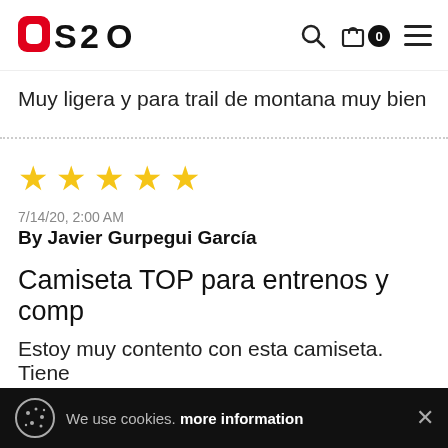[Figure (logo): OS2O brand logo in red and black]
Muy ligera y para trail de montana muy bien
[Figure (other): 5 yellow star rating]
7/14/20, 2:00 AM
By Javier Gurpegui García
Camiseta TOP para entrenos y comp
Estoy muy contento con esta camiseta. Tiene
We use cookies. more information